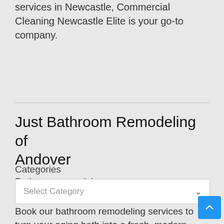services in Newcastle, Commercial Cleaning Newcastle Elite is your go-to company.
Just Bathroom Remodeling of Andover
Bathroom remodeler
Andover, MA
Book our bathroom remodeling services to turn your aging bath into a fresh, modern space. Serving Andover, MA.
Categories
Select Category